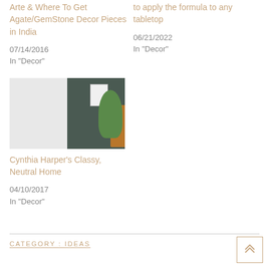Arte & Where To Get Agate/GemStone Decor Pieces in India
07/14/2016
In "Decor"
to apply the formula to any tabletop
06/21/2022
In "Decor"
[Figure (photo): Interior photo showing a neutral home with a wooden dresser, wall art frame, and green plant against a dark wall]
Cynthia Harper's Classy, Neutral Home
04/10/2017
In "Decor"
CATEGORY : IDEAS
[Figure (other): Back to top button with double upward chevron arrow]